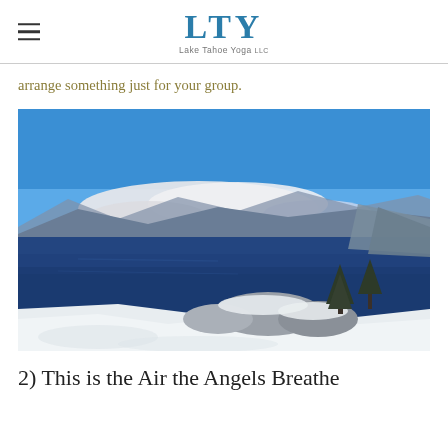LTY Lake Tahoe Yoga
arrange something just for your group.
[Figure (photo): Winter aerial view of Lake Tahoe with deep blue water, snow-covered foreground rocks and trees, mountains in background under partly cloudy blue sky]
2) This is the Air the Angels Breathe